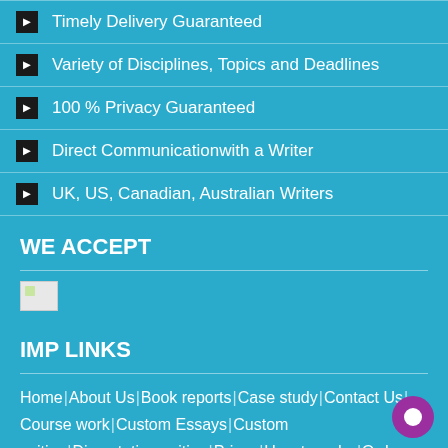Timely Delivery Guaranteed
Variety of Disciplines, Topics and Deadlines
100 % Privacy Guaranteed
Direct Communicationwith a Writer
UK, US, Canadian, Australian Writers
WE ACCEPT
[Figure (other): Broken image placeholder for payment method icons]
IMP LINKS
Home | About Us | Book reports | Case study | Contact Us | Course work | Custom Essays | Custom writing | Dissertation writing | Prices | How to order | Order Now | Our Guarantees | Our Services | Our Writers | Privacy Policy | Proofreading, editing and formating | Research paper | Term paper writ...